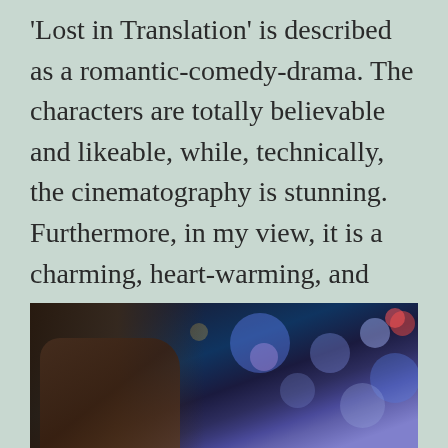'Lost in Translation' is described as a romantic-comedy-drama. The characters are totally believable and likeable, while, technically, the cinematography is stunning. Furthermore, in my view, it is a charming, heart-warming, and life-affirming albeit bitter-sweet movie.
[Figure (photo): A film still from 'Lost in Translation' showing a person with long hair in the foreground against a background of blurred city bokeh lights in blue and purple tones.]